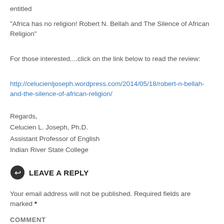entitled
“Africa has no religion! Robert N. Bellah and The Silence of African Religion”
For those interested....click on the link below to read the review:
http://celucienljoseph.wordpress.com/2014/05/18/robert-n-bellah-and-the-silence-of-african-religion/
Regards,
Celucien L. Joseph, Ph.D.
Assistant Professor of English
Indian River State College
LEAVE A REPLY
Your email address will not be published. Required fields are marked *
Comment